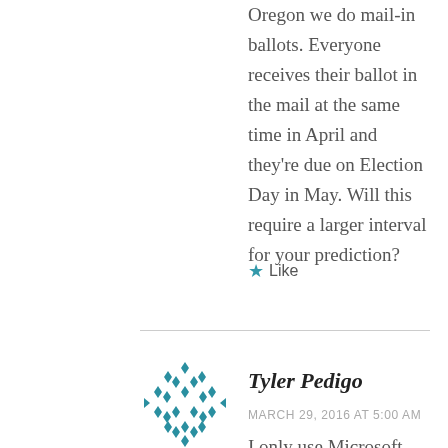Oregon we do mail-in ballots. Everyone receives their ballot in the mail at the same time in April and they're due on Election Day in May. Will this require a larger interval for your prediction?
★ Like
[Figure (illustration): Circular avatar/logo with teal diamond/dot pattern arranged in a grid]
Tyler Pedigo
MARCH 29, 2016 AT 5:00 AM
I only use Microsoft Excel and Stata, though you could do mostly everything I'm doing with just